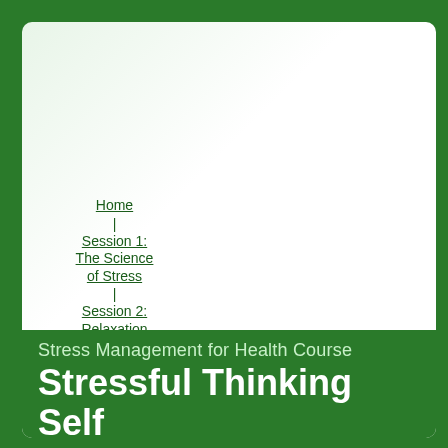Home
Session 1: The Science of Stress
Session 2: Relaxation and Stress
Session 3: Exercise and Stress
Session 4: Stress Resistant Eating
Session 5: Stress Resistant Thinking
Stress Management for Health Course
Stressful Thinking Self